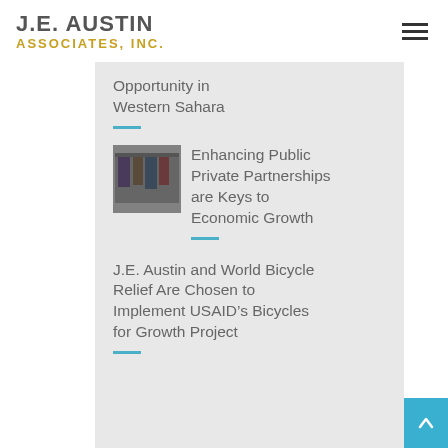[Figure (logo): J.E. Austin Associates, Inc. company logo with hamburger menu icon]
Opportunity in Western Sahara
Enhancing Public Private Partnerships are Keys to Economic Growth
J.E. Austin and World Bicycle Relief Are Chosen to Implement USAID’s Bicycles for Growth Project